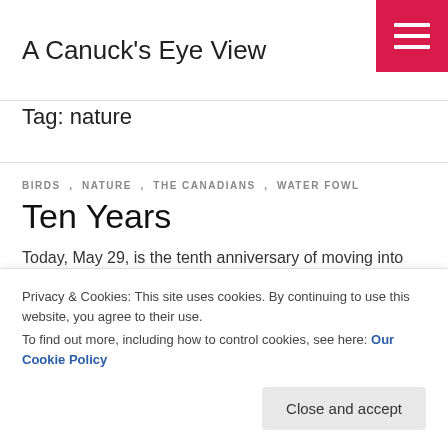A Canuck's Eye View
Tag: nature
BIRDS , NATURE , THE CANADIANS , WATER FOWL
Ten Years
Today, May 29, is the tenth anniversary of moving into this house that has been our home and haven. We …
Continue reading
Year Ten
I began working on this post about two weeks ago. The
Privacy & Cookies: This site uses cookies. By continuing to use this website, you agree to their use.
To find out more, including how to control cookies, see here: Our Cookie Policy
Close and accept